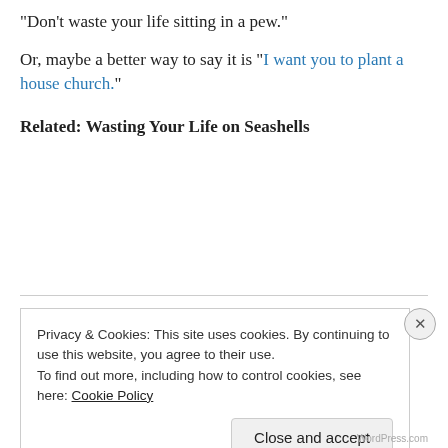“Don’t waste your life sitting in a pew.”
Or, maybe a better way to say it is “I want you to plant a house church.”
Related: Wasting Your Life on Seashells
Privacy & Cookies: This site uses cookies. By continuing to use this website, you agree to their use.
To find out more, including how to control cookies, see here: Cookie Policy
Close and accept